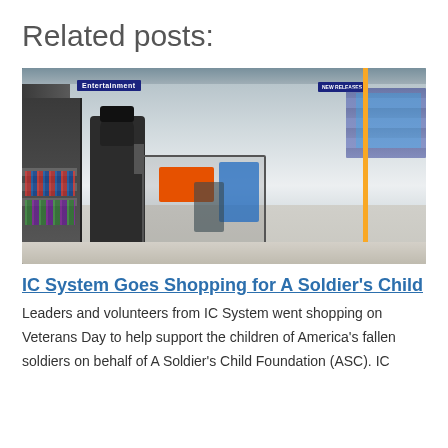Related posts:
[Figure (photo): A person wearing a black mask and beanie pushing a shopping cart loaded with items in a Walmart store's entertainment section. Store signage includes 'Entertainment' and 'New Releases' banners visible in the background.]
IC System Goes Shopping for A Soldier's Child
Leaders and volunteers from IC System went shopping on Veterans Day to help support the children of America's fallen soldiers on behalf of A Soldier's Child Foundation (ASC). IC